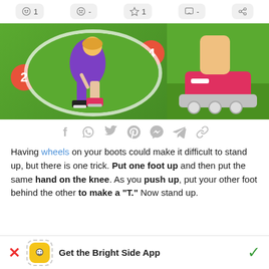[Figure (infographic): Interaction/reaction buttons row: smiley face with count 1, sad face with dash, star with count 1, comment with dash, share icon]
[Figure (illustration): Illustrated image strip showing steps 2 and 4 of roller skating tutorial. Step 2 shows person in purple outfit on inline skates on grass, step 4 shows close-up of pink inline skate on grass.]
[Figure (infographic): Social share icons row: Facebook f, WhatsApp, Twitter, Pinterest, Messenger, Telegram, link/chain]
Having wheels on your boots could make it difficult to stand up, but there is one trick. Put one foot up and then put the same hand on the knee. As you push up, put your other foot behind the other to make a "T." Now stand up.
[Figure (infographic): App download banner with X (dismiss) icon, dashed border phone icon with smiley in yellow, bold text 'Get the Bright Side App', and green checkmark]